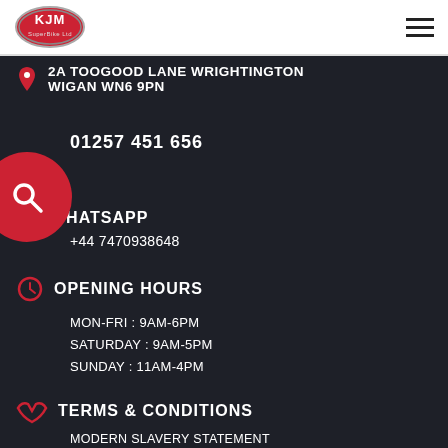KJM SuperBike Ltd
2A TOOGOOD LANE WRIGHTINGTON WIGAN WN6 9PN
01257 451 656
WHATSAPP
+44 7470938648
OPENING HOURS
MON-FRI : 9AM-6PM
SATURDAY : 9AM-5PM
SUNDAY : 11AM-4PM
TERMS & CONDITIONS
MODERN SLAVERY STATEMENT